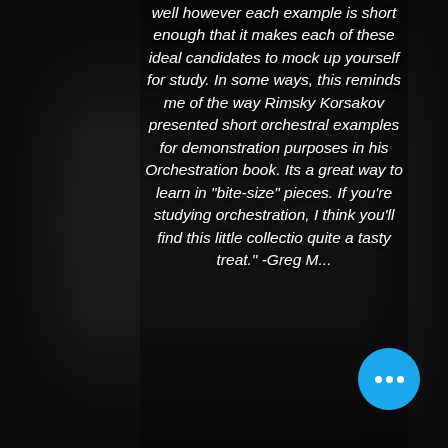well however each example is short enough that it makes each of these ideal candidates to mock up yourself for study. In some ways, this reminds me of the way Rimsky Korsakov presented short orchestral examples for demonstration purposes in his Orchestration book. Its a great way to learn in "bite-size" pieces. If you're studying orchestration, I think you'll find this little collection quite a tasty treat." -Greg M...